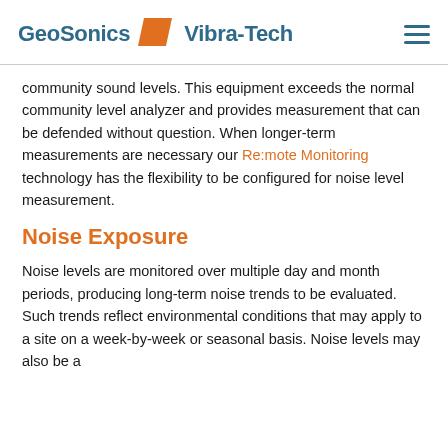GeoSonics Vibra-Tech
community sound levels. This equipment exceeds the normal community level analyzer and provides measurement that can be defended without question. When longer-term measurements are necessary our Re:mote Monitoring technology has the flexibility to be configured for noise level measurement.
Noise Exposure
Noise levels are monitored over multiple day and month periods, producing long-term noise trends to be evaluated. Such trends reflect environmental conditions that may apply to a site on a week-by-week or seasonal basis. Noise levels may also be a